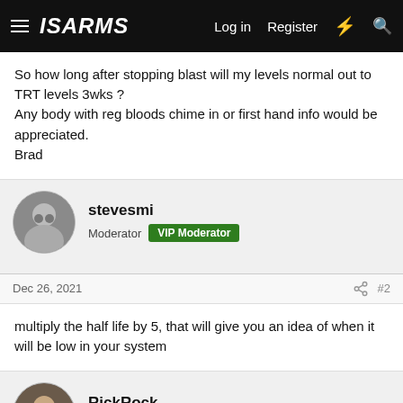ISARMS | Log in | Register
So how long after stopping blast will my levels normal out to TRT levels 3wks ?
Any body with reg bloods chime in or first hand info would be appreciated.
Brad
stevesmi
Moderator  VIP Moderator
Dec 26, 2021  #2
multiply the half life by 5, that will give you an idea of when it will be low in your system
RickRock
Community Leader  VIP Moderator
Dec 26, 2021  #3